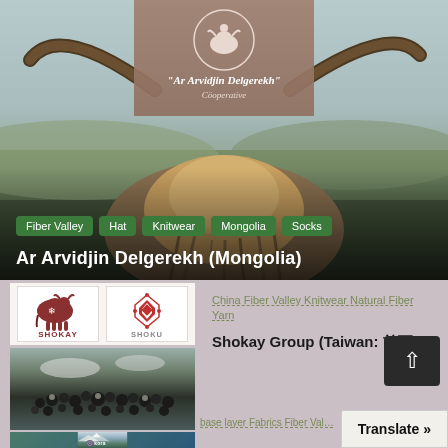[Figure (photo): Hero image of a highland cow/yak seen from behind, with large curved horns, standing in a moorland landscape. Overlaid with a logo box reading "Ar Arvidjin Delgerekh" Cooperative.]
Fiber Valley
Hat
Knitwear
Mongolia
Socks
Ar Arvidjin Delgerekh (Mongolia)
[Figure (logo): Shokay brand logos - two logos side by side showing a yak illustration and a geometric snowflake/knot pattern, both with SHOKAY text]
[Figure (photo): Photo of a large herd of dark animals (yaks or goats) in a mountainous landscape]
[Figure (logo): Kora brand logo with circular symbol and 'kora' text on mountain landscape]
China Fiber Valley Knitwear Natural Fiber Yarn
Shokay Group (Taiwan: 首可)
base layer Fabrics Fiber Val...
Translate »